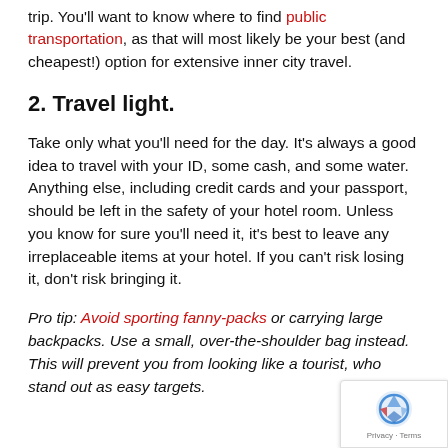trip. You'll want to know where to find public transportation, as that will most likely be your best (and cheapest!) option for extensive inner city travel.
2. Travel light.
Take only what you'll need for the day. It's always a good idea to travel with your ID, some cash, and some water. Anything else, including credit cards and your passport, should be left in the safety of your hotel room. Unless you know for sure you'll need it, it's best to leave any irreplaceable items at your hotel. If you can't risk losing it, don't risk bringing it.
Pro tip: Avoid sporting fanny-packs or carrying large backpacks. Use a small, over-the-shoulder bag instead. This will prevent you from looking like a tourist, who stand out as easy targets.